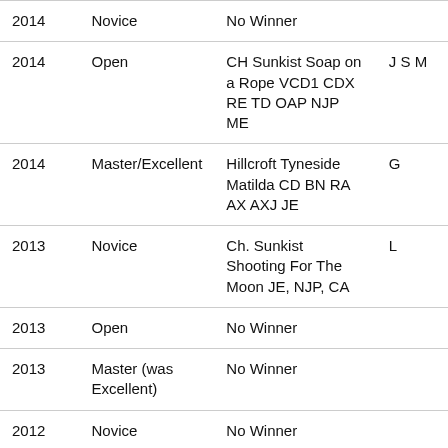| Year | Class | Dog | Owner |
| --- | --- | --- | --- |
| 2014 | Novice | No Winner |  |
| 2014 | Open | CH Sunkist Soap on a Rope VCD1 CDX RE TD OAP NJP ME | J S M |
| 2014 | Master/Excellent | Hillcroft Tyneside Matilda CD BN RA AX AXJ JE | G |
| 2013 | Novice | Ch. Sunkist Shooting For The Moon JE, NJP, CA | L |
| 2013 | Open | No Winner |  |
| 2013 | Master (was Excellent) | No Winner |  |
| 2012 | Novice | No Winner |  |
| 2012 | Open | No Winner |  |
| 2012 | Master | No Winner |  |